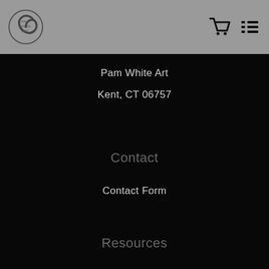Pam White Art
Pam White Art
Kent, CT 06757
Contact
Contact Form
Resources
About the artist
FAQ
This website uses cookies to ensure you get the best experience on our website.
Got it!